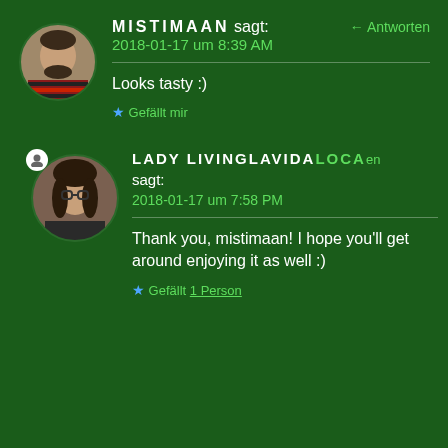[Figure (photo): Circular avatar photo of a man wearing a striped red and black shirt]
MISTIMAAN sagt:
Antworten
2018-01-17 um 8:39 AM
Looks tasty :)
★ Gefällt mir
[Figure (photo): Circular avatar photo of a woman with glasses and dark curly hair]
LADY LIVINGLAVIDALOCA sagt:
Antworten
2018-01-17 um 7:58 PM
Thank you, mistimaan! I hope you'll get around enjoying it as well :)
★ Gefällt 1 Person